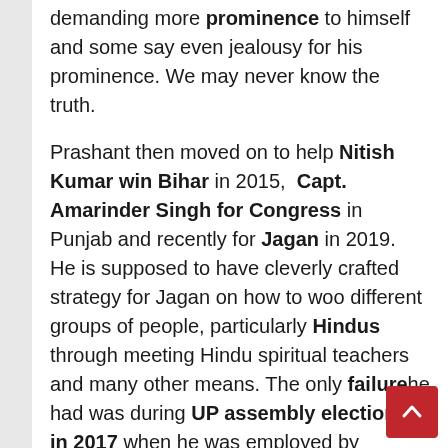demanding more prominence to himself and some say even jealousy for his prominence. We may never know the truth.
Prashant then moved on to help Nitish Kumar win Bihar in 2015, Capt. Amarinder Singh for Congress in Punjab and recently for Jagan in 2019. He is supposed to have cleverly crafted strategy for Jagan on how to woo different groups of people, particularly Hindus through meeting Hindu spiritual teachers and many other means. The only failure he had was during UP assembly elections in 2017 when he was employed by Congress, a result of the party non-cooperation of his ideas/suggestions. Now there is news of Mamata Banerjee reaching out to him to craft a strategy for the West Bengal state